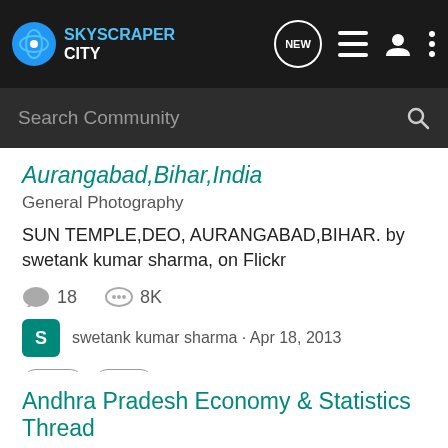SkyscraperCity — navigation bar with logo, NEW, list, user, and menu icons
Search Community
Aurangabad,Bihar,India
General Photography
SUN TEMPLE,DEO, AURANGABAD,BIHAR. by swetank kumar sharma, on Flickr
18   8K
swetank kumar sharma · Apr 18, 2013
india
obra
Andhra Pradesh Economy & Statistics Thread
Andhra Pradesh
The economy of Andhra Pradesh is mainly driven by agriculture. Two important rivers of India, the Godavari and Krishna, flow through the state, providing irrigation. Rice,